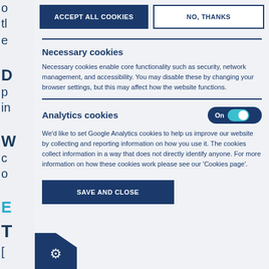[Figure (screenshot): Cookie consent modal overlay showing Accept All Cookies and No Thanks buttons at top, Necessary cookies section with description, Analytics cookies section with On toggle switch, and Save and Close button at bottom. Gear/settings icon visible at bottom left.]